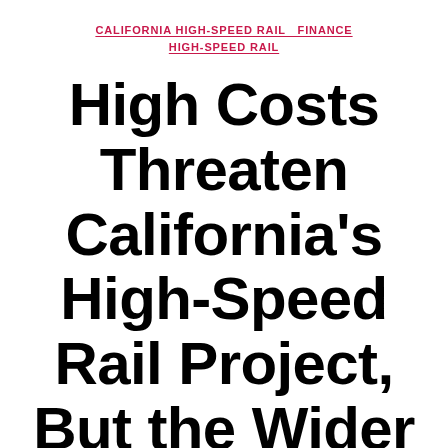CALIFORNIA HIGH-SPEED RAIL  FINANCE  HIGH-SPEED RAIL
High Costs Threaten California's High-Speed Rail Project, But the Wider Context Must be Understood